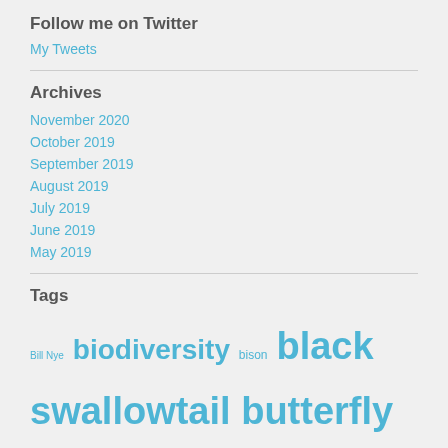Follow me on Twitter
My Tweets
Archives
November 2020
October 2019
September 2019
August 2019
July 2019
June 2019
May 2019
Tags
Bill Nye biodiversity bison black swallowtail butterfly chrysalis coreopsis fennel fort worth nature center gardening with kids greta thunberg hiking with kids homeschooling hover fly milkweed mint flowers mom blog national geographic native naturalist